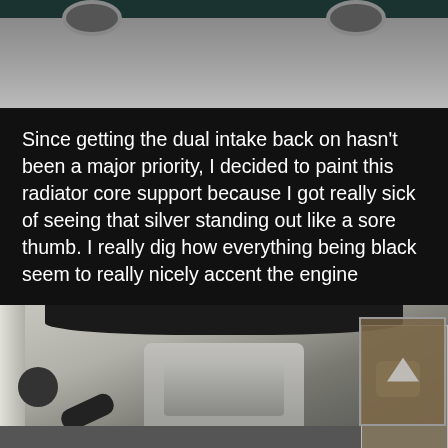[Figure (photo): Exterior shot of a dark green/black car from behind, showing the rear wheels and asphalt pavement.]
Since getting the dual intake back on hasn't been a major priority, I decided to paint this radiator core support because I got really sick of seeing that silver standing out like a sore thumb. I really dig how everything being black seem to really nicely accent the engine
[Figure (photo): Overhead view of a car engine bay showing a black-painted radiator core support, engine block, various reservoirs and components, with a small inset thumbnail in the bottom right corner.]